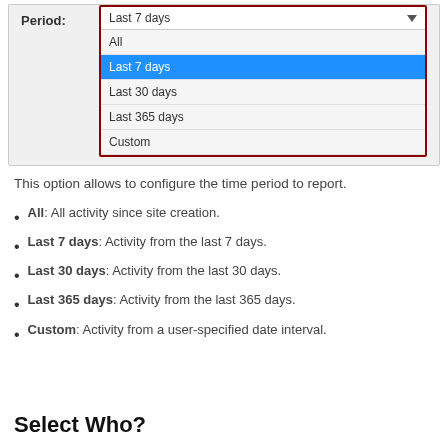[Figure (screenshot): A dropdown menu UI element showing a 'Period' selector with options: All, Last 7 days (highlighted in blue/selected), Last 30 days, Last 365 days, Custom. The dropdown is outlined in dark red.]
This option allows to configure the time period to report.
All: All activity since site creation.
Last 7 days: Activity from the last 7 days.
Last 30 days: Activity from the last 30 days.
Last 365 days: Activity from the last 365 days.
Custom: Activity from a user-specified date interval.
Select Who?